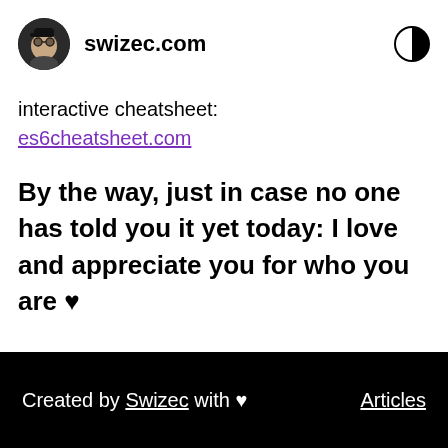swizec.com
interactive cheatsheet:
es6cheatsheet.com
By the way, just in case no one has told you it yet today: I love and appreciate you for who you are ♥
Created by Swizec with ♥    Articles